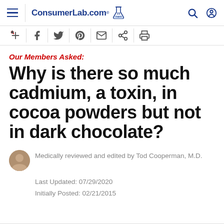ConsumerLab.com 23 YEARS
Our Members Asked:
Why is there so much cadmium, a toxin, in cocoa powders but not in dark chocolate?
Medically reviewed and edited by Tod Cooperman, M.D.
Last Updated: 07/29/2020
Initially Posted: 02/21/2015